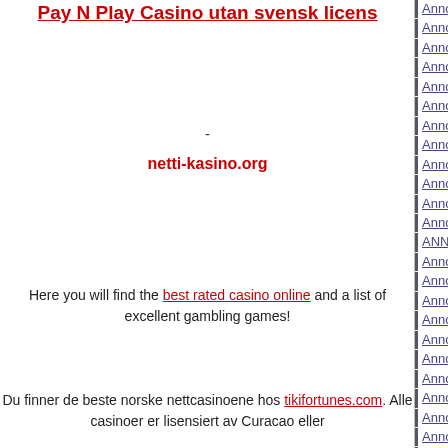Pay N Play Casino utan svensk licens
-
netti-kasino.org
Anno 1503 History Edition v1.4326.548318 [Trainer...]
Anno 1503/1503 AD - The New World - FAQ
Anno 1602 - FAQ
Anno 1602 - Magic Trainer
Anno 1602 [cheats]
Anno 1701 / 1701 A.D. Gold Edition v1.04 / Sunke...
Anno 1701 [cheats]
Anno 1800 v1.0 [Trainer +10] {FLiNG}
Anno 1800 v1.0-v10.0 [Trainer +11] {FLiNG}
Anno 1800 v1.0-v11.0 [Trainer +11] {FLiNG}
Anno 1800 v1.0-v12.0 [Trainer +11] {FLiNG}
Anno 1800 v1.0-v13.0 [Trainer +11] {FLiNG}
ANNO 1800 V1.0-V20190605 [TRAINER +10] {F...
Anno 1800 v1.0-v20190806 [Trainer +10] {FLiNG...
Anno 1800 v1.0-v20191210 [Trainer +10] {FLiNG...
Anno 1800 v1.0-v20200324 [Trainer +10] {FLiNG...
Anno 1800 v1.0-v7.3 [Trainer +10] {FLiNG}
Anno 1800 v1.0-v9.0 [Trainer +10] {FLiNG}
Anno 1800 v1.0-v9.2 [Trainer +10] {FLiNG}
Anno 1800 V1.00 [Trainer +5]
Anno 1800 V1.03 [Trainer +5]
Anno 1800 v13.0.1064331 [trainer +9]
Anno 1800 v13.1.1070153 [trainer +9]
Anno 1800 v13.2.1079515 [trainer +9]
Anno 1800 v14.0.0.0 (09.05.2022) [trainer +9]
Anno 1800 v6.1.907433 [Trainer +5]
Anno 1800 v9.2.972600 [Trainer +9] {DNA / HoG...
Anno 2070 (v1.01.6235) [trainer +8]
Anno 2070 - Deep Ocean v2.00.7792 [Trainer +1...
Here you will find the best rated casino online and a list of excellent gambling games!
Du finner de beste norske nettcasinoene hos tikifortunes.com. Alle casinoer er lisensiert av Curacao eller